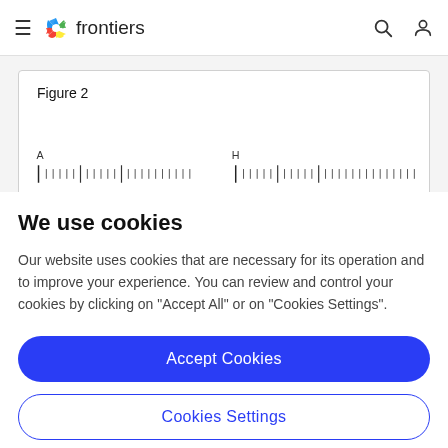frontiers
[Figure (other): Partial view of Figure 2 showing a ruler/scale diagram with tick marks labeled A and H]
Figure 2
We use cookies
Our website uses cookies that are necessary for its operation and to improve your experience. You can review and control your cookies by clicking on "Accept All" or on "Cookies Settings".
Accept Cookies
Cookies Settings